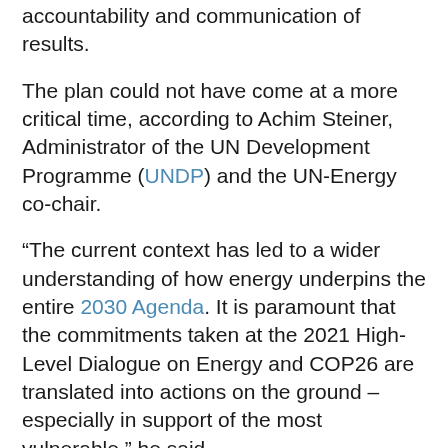accountability and communication of results.
The plan could not have come at a more critical time, according to Achim Steiner, Administrator of the UN Development Programme (UNDP) and the UN-Energy co-chair.
“The current context has led to a wider understanding of how energy underpins the entire 2030 Agenda. It is paramount that the commitments taken at the 2021 High-Level Dialogue on Energy and COP26 are translated into actions on the ground – especially in support of the most vulnerable,” he said.
Collaborating for transformation